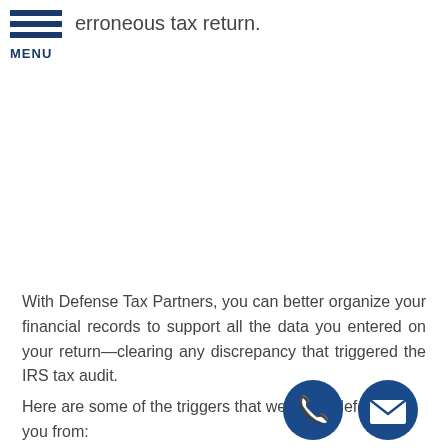MENU
erroneous tax return.
With Defense Tax Partners, you can better organize your financial records to support all the data you entered on your return—clearing any discrepancy that triggered the IRS tax audit.
Here are some of the triggers that we defend you from: